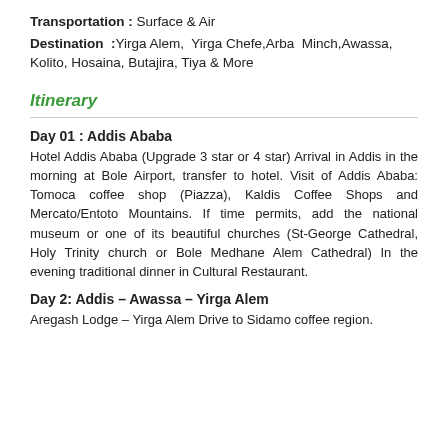Transportation : Surface & Air
Destination :Yirga Alem, Yirga Chefe,Arba Minch,Awassa, Kolito, Hosaina, Butajira, Tiya & More
Itinerary
Day 01 : Addis Ababa
Hotel Addis Ababa (Upgrade 3 star or 4 star) Arrival in Addis in the morning at Bole Airport, transfer to hotel. Visit of Addis Ababa: Tomoca coffee shop (Piazza), Kaldis Coffee Shops and Mercato/Entoto Mountains. If time permits, add the national museum or one of its beautiful churches (St-George Cathedral, Holy Trinity church or Bole Medhane Alem Cathedral) In the evening traditional dinner in Cultural Restaurant.
Day 2: Addis – Awassa – Yirga Alem
Aregash Lodge – Yirga Alem Drive to Sidamo coffee region.